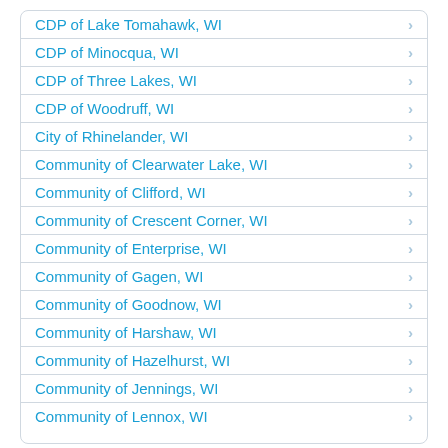CDP of Lake Tomahawk, WI
CDP of Minocqua, WI
CDP of Three Lakes, WI
CDP of Woodruff, WI
City of Rhinelander, WI
Community of Clearwater Lake, WI
Community of Clifford, WI
Community of Crescent Corner, WI
Community of Enterprise, WI
Community of Gagen, WI
Community of Goodnow, WI
Community of Harshaw, WI
Community of Hazelhurst, WI
Community of Jennings, WI
Community of Lennox, WI